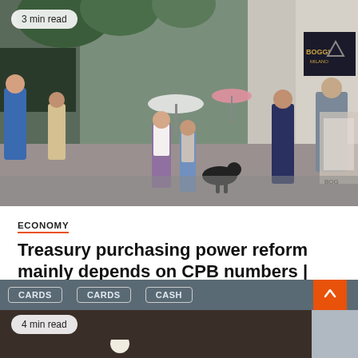[Figure (photo): People walking along a rainy shopping street. Several pedestrians visible, some with umbrellas, shops in background including BOGGI Milano. A woman walking a black dog is prominent.]
3 min read
ECONOMY
Treasury purchasing power reform mainly depends on CPB numbers | Currently
August 18, 2022   Courtney Horton
[Figure (photo): Bottom portion of another article card showing a currency exchange or ATM sign with CARDS and CASH labels. A person in a white hat visible at the bottom.]
4 min read